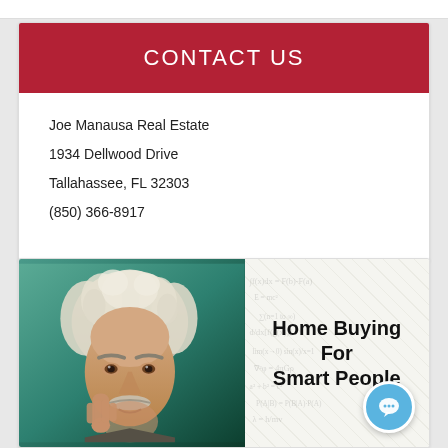CONTACT US
Joe Manausa Real Estate
1934 Dellwood Drive
Tallahassee, FL 32303
(850) 366-8917
[Figure (illustration): Book cover for 'Home Buying For Smart People' featuring an illustration of Albert Einstein thinking, set against a teal/green background with mathematical equations, alongside the book title text]